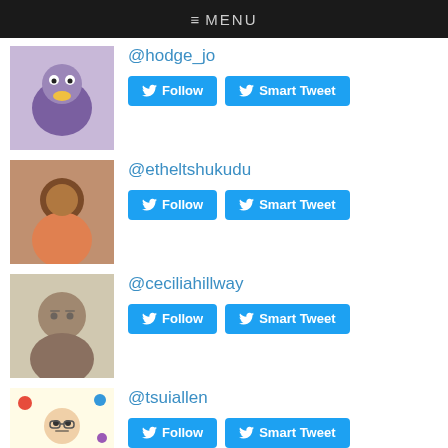≡ MENU
@hodge_jo — Follow | Smart Tweet
@etheltshukudu — Follow | Smart Tweet
@ceciliahillway — Follow | Smart Tweet
@tsuiallen — Follow | Smart Tweet
Top Mentioned in G3:
@lyndauk — Follow | Smart Tweet
@roehamptonuni — Follow | Smart Tweet
@casinclude — Follow | Smart Tweet